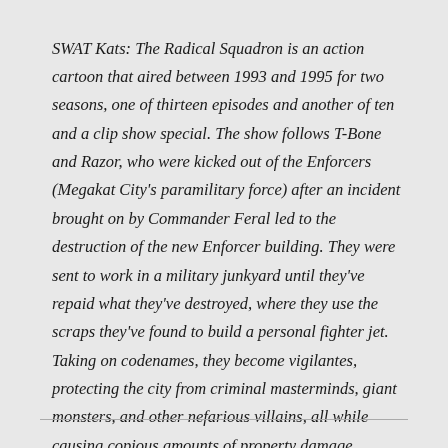SWAT Kats: The Radical Squadron is an action cartoon that aired between 1993 and 1995 for two seasons, one of thirteen episodes and another of ten and a clip show special. The show follows T-Bone and Razor, who were kicked out of the Enforcers (Megakat City's paramilitary force) after an incident brought on by Commander Feral led to the destruction of the new Enforcer building. They were sent to work in a military junkyard until they've repaid what they've destroyed, where they use the scraps they've found to build a personal fighter jet. Taking on codenames, they become vigilantes, protecting the city from criminal masterminds, giant monsters, and other nefarious villains, all while causing copious amounts of property damage.